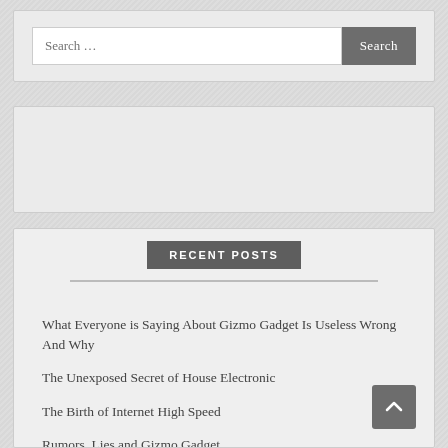[Figure (screenshot): Search widget with text input field showing 'Search ...' placeholder and a dark grey 'Search' button]
[Figure (other): Empty advertisement or widget placeholder box]
RECENT POSTS
What Everyone is Saying About Gizmo Gadget Is Useless Wrong And Why
The Unexposed Secret of House Electronic
The Birth of Internet High Speed
Rumors, Lies and Gizmo Gadget
Dirty Details About Gizmo Gadget Revealed
Shocking Details About Computer Troubleshooting Told By